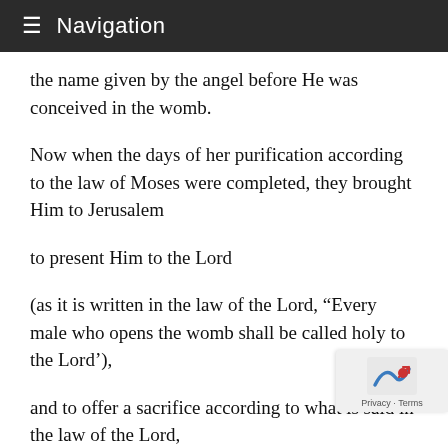Navigation
the name given by the angel before He was conceived in the womb.
Now when the days of her purification according to the law of Moses were completed, they brought Him to Jerusalem
to present Him to the Lord
(as it is written in the law of the Lord, “Every male who opens the womb shall be called holy to the Lord’),
and to offer a sacrifice according to what is said in the law of the Lord,
“A pair of turtledoves or two young pigeons.’
And behold, there was a man in Jerusalem whose